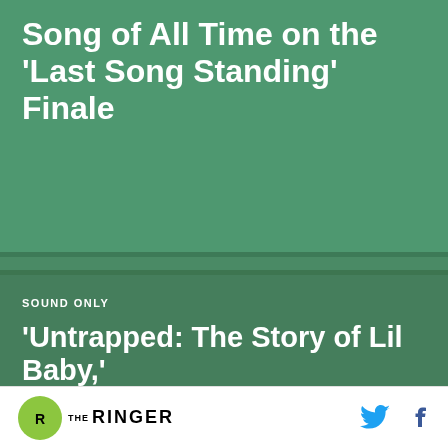Song of All Time on the 'Last Song Standing' Finale
RAP
For JID, Forever Is Now
SOUND ONLY
'Untrapped: The Story of Lil Baby,'
THE RINGER